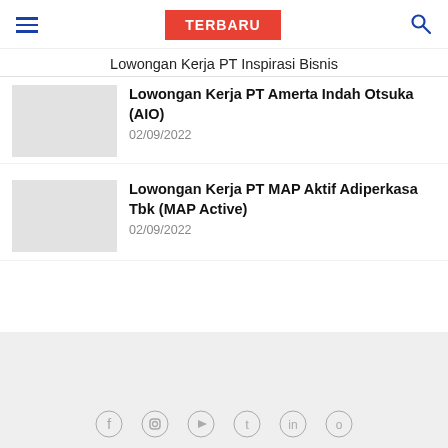TERBARU | Lowongan Kerja PT Inspirasi Bisnis
Lowongan Kerja PT Amerta Indah Otsuka (AIO)
02/09/2022
Lowongan Kerja PT MAP Aktif Adiperkasa Tbk (MAP Active)
02/09/2022
Social media icons footer